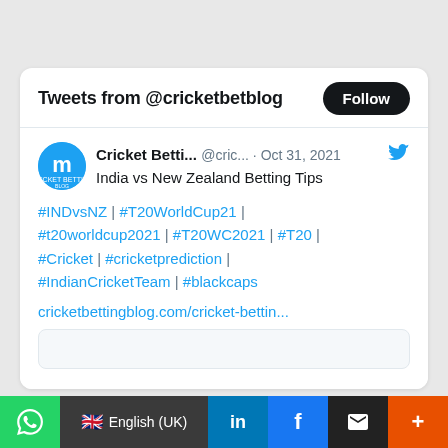Tweets from @cricketbetblog
Cricket Betti... @cric... · Oct 31, 2021
India vs New Zealand Betting Tips
#INDvsNZ | #T20WorldCup21 | #t20worldcup2021 | #T20WC2021 | #T20 | #Cricket | #cricketprediction | #IndianCricketTeam | #blackcaps
cricketbettingblog.com/cricket-bettin...
[Figure (screenshot): Bottom preview box placeholder]
English (UK)  in  f  ✉  +